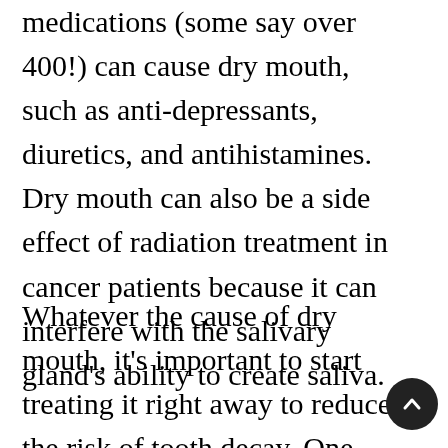medications (some say over 400!) can cause dry mouth, such as anti-depressants, diuretics, and antihistamines. Dry mouth can also be a side effect of radiation treatment in cancer patients because it can interfere with the salivary gland's ability to create saliva.
Whatever the cause of dry mouth, it's important to start treating it right away to reduce the risk of tooth decay. One easy solution is to sip water throughout the day to keep your